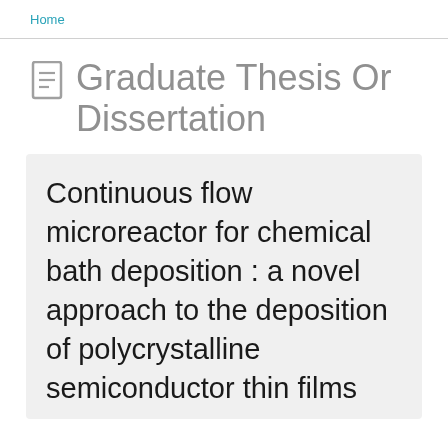Home
Graduate Thesis Or Dissertation
Continuous flow microreactor for chemical bath deposition : a novel approach to the deposition of polycrystalline semiconductor thin films